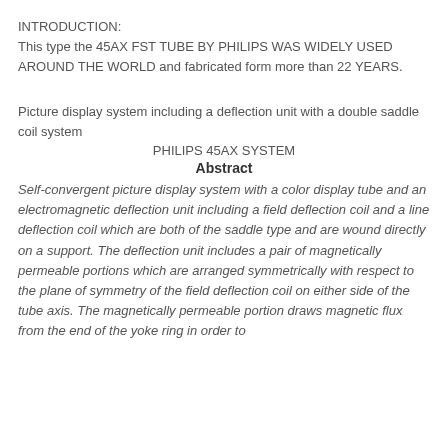INTRODUCTION:
This type the 45AX FST TUBE BY PHILIPS WAS WIDELY USED AROUND THE WORLD and fabricated form more than 22 YEARS.
Picture display system including a deflection unit with a double saddle coil system
PHILIPS 45AX SYSTEM
Abstract
Self-convergent picture display system with a color display tube and an electromagnetic deflection unit including a field deflection coil and a line deflection coil which are both of the saddle type and are wound directly on a support. The deflection unit includes a pair of magnetically permeable portions which are arranged symmetrically with respect to the plane of symmetry of the field deflection coil on either side of the tube axis. The magnetically permeable portion draws magnetic flux from the end of the yoke ring in order to